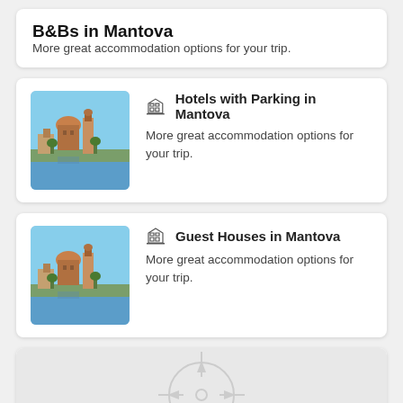B&Bs in Mantova
More great accommodation options for your trip.
[Figure (photo): Photo of Mantova cityscape with cathedral and river]
Hotels with Parking in Mantova
More great accommodation options for your trip.
[Figure (photo): Photo of Mantova cityscape with cathedral and river]
Guest Houses in Mantova
More great accommodation options for your trip.
[Figure (map): Map placeholder with compass/crosshair icon and partial hotel icon at bottom left]